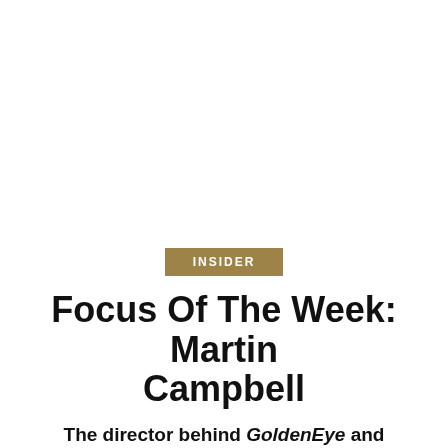INSIDER
Focus Of The Week: Martin Campbell
The director behind GoldenEye and Casino Royale
A filmmaker with both a flair for action and skill with